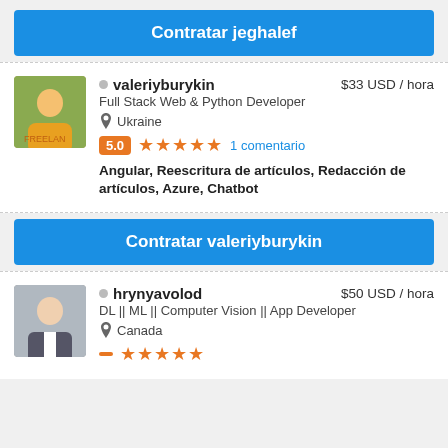Contratar jeghalef
valeriyburykin · $33 USD / hora · Full Stack Web & Python Developer · Ukraine · 5.0 ★★★★★ 1 comentario · Angular, Reescritura de artículos, Redacción de artículos, Azure, Chatbot
Contratar valeriyburykin
hrynyavolod · $50 USD / hora · DL || ML || Computer Vision || App Developer · Canada